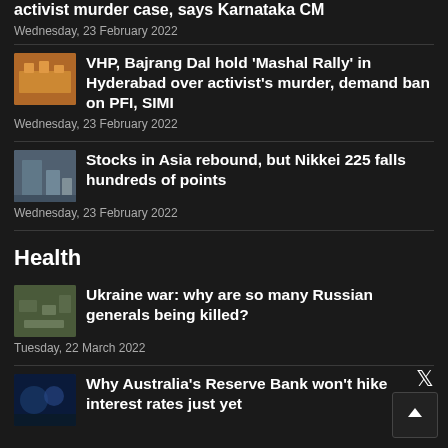activist murder case, says Karnataka CM
Wednesday, 23 February 2022
VHP, Bajrang Dal hold ‘Mashal Rally’ in Hyderabad over activist’s murder, demand ban on PFI, SIMI
Wednesday, 23 February 2022
Stocks in Asia rebound, but Nikkei 225 falls hundreds of points
Wednesday, 23 February 2022
Health
Ukraine war: why are so many Russian generals being killed?
Tuesday, 22 March 2022
Why Australia’s Reserve Bank won’t hike interest rates just yet